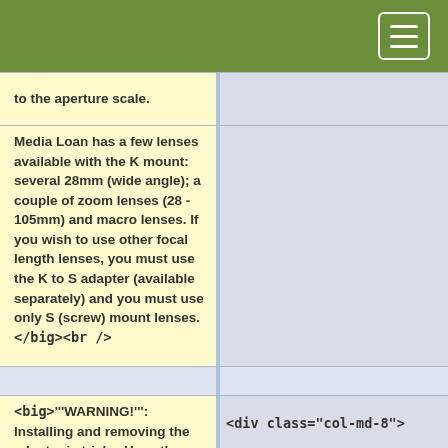to the aperture scale.
Media Loan has a few lenses available with the K mount: several 28mm (wide angle);  a couple of zoom lenses (28 - 105mm) and macro lenses.  If you wish to use other focal length lenses, you must use the K to S adapter (available separately) and you must use only S (screw) mount lenses. </big><br />
<big>'''WARNING!''': Installing and removing the adapter is tricky.  Have the procedure
<div class="col-md-8">